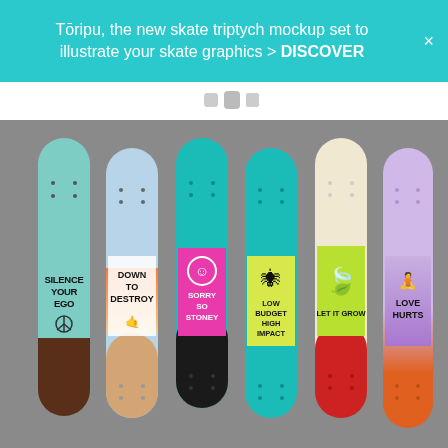Tōripu, the new skate triptych mockup set to illustrate your skate graphics > DISCOVER
[Figure (photo): Six skateboard decks displayed vertically side by side against a gray background. Each deck features a unique graphic: 1) Mint green with 'SILENCE YOUR EGO' and peace sign, brown bottom; 2) Light blue with 'DOWN TO DESTROY' gradient orange/peach, wooden bottom; 3) Teal/black with pink 'SORRY SO STONEY' and circular graphic, black bottom; 4) Teal with yellow 'LOW BUDGET HIGH IMPACT' and spider graphic, teal bottom; 5) Cream/red with yellow-green 'LET IT GROW' and cannabis leaf, red bottom; 6) Lavender/orange with gradient 'LOVE HURTS' and meditating figure, orange bottom.]